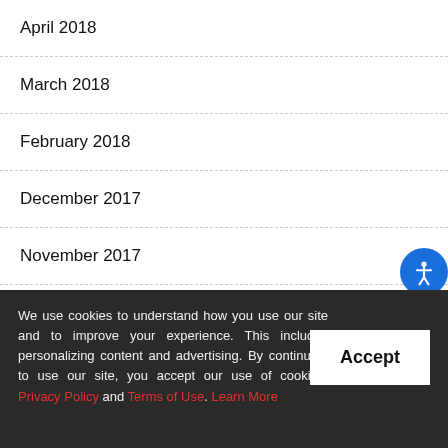April 2018
March 2018
February 2018
December 2017
November 2017
October 2017
We use cookies to understand how you use our site and to improve your experience. This includes personalizing content and advertising. By continuing to use our site, you accept our use of cookies, Privacy Policy and Terms of Use. Learn More